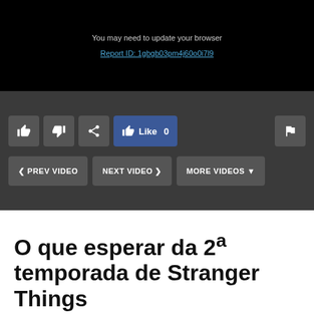[Figure (screenshot): Video player error screen showing black background with 'You may need to update your browser' message and a Report ID link]
You may need to update your browser
Report ID: 1gbgb03pm4j60o0i7l9
[Figure (screenshot): Video controls bar with thumbs up, thumbs down, share, Facebook Like 0, flag buttons, and PREV VIDEO, NEXT VIDEO, MORE VIDEOS navigation buttons]
O que esperar da 2ª temporada de Stranger Things